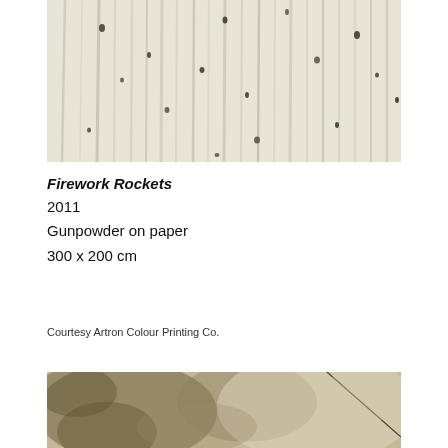[Figure (photo): Close-up photograph of paper with vertical streaks and dark spots from gunpowder, light cream/white tones with scattered dark marks]
Firework Rockets
2011
Gunpowder on paper
300 x 200 cm
Courtesy Artron Colour Printing Co.
[Figure (photo): Close-up photograph showing smoky brown and cream tones with a dark diagonal line, gunpowder residue on paper]